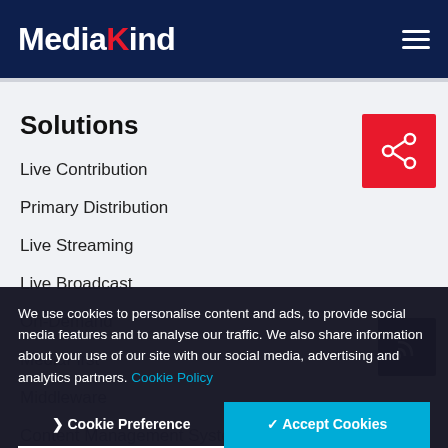MediaKind
Solutions
Live Contribution
Primary Distribution
Live Streaming
Live Broadcast
On-Demand
MediaFirst
Middleware
Content Management System
Advertising and Linear Rights
[Figure (other): Share icon button (red square with share/network icon)]
[Figure (other): RSS/feed icon button (dark square with RSS icon)]
We use cookies to personalise content and ads, to provide social media features and to analyse our traffic. We also share information about your use of our site with our social media, advertising and analytics partners. Cookie Policy
) Cookie Preference
✓ Accept Cookies